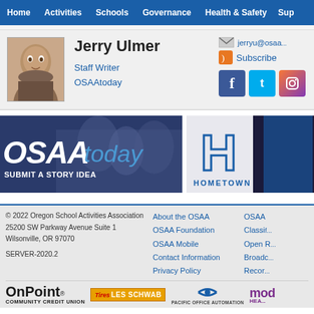Home | Activities | Schools | Governance | Health & Safety | Sup...
Jerry Ulmer
Staff Writer
OSAAtoday
jerryu@osaa... | Subscribe
[Figure (photo): Headshot photo of Jerry Ulmer]
[Figure (logo): OSAAtoday - Submit a Story Idea banner]
[Figure (logo): Hometown H logo banner]
© 2022 Oregon School Activities Association
25200 SW Parkway Avenue Suite 1
Wilsonville, OR 97070

SERVER-2020.2
About the OSAA
OSAA Foundation
OSAA Mobile
Contact Information
Privacy Policy
OSAA
Classifi...
Open R...
Broadc...
Recor...
[Figure (logo): OnPoint Community Credit Union logo]
[Figure (logo): Les Schwab Tires logo]
[Figure (logo): Pacific Office Automation logo]
[Figure (logo): Moda Health logo]